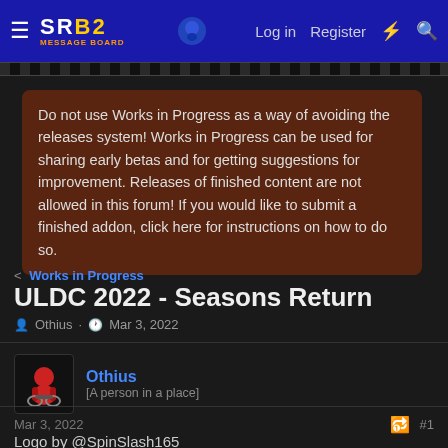SRB2 | Log in | Register
Do not use Works in Progress as a way of avoiding the releases system! Works in Progress can be used for sharing early betas and for getting suggestions for improvement. Releases of finished content are not allowed in this forum! If you would like to submit a finished addon, click here for instructions on how to do so.
Works in Progress
ULDC 2022 - Seasons Return
Othius · Mar 3, 2022
Othius
[A person in a place]
Mar 3, 2022
#1
Logo by @SpinSlash165